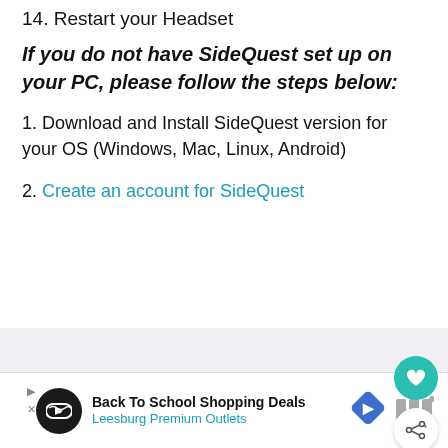14. Restart your Headset
If you do not have SideQuest set up on your PC, please follow the steps below:
1. Download and Install SideQuest version for your OS (Windows, Mac, Linux, Android)
2. Create an account for SideQuest
[Figure (other): Gray content area with teal heart button and white share button on the right side]
[Figure (other): Advertisement bar: Back To School Shopping Deals - Leesburg Premium Outlets with navigation arrow icon and logo]